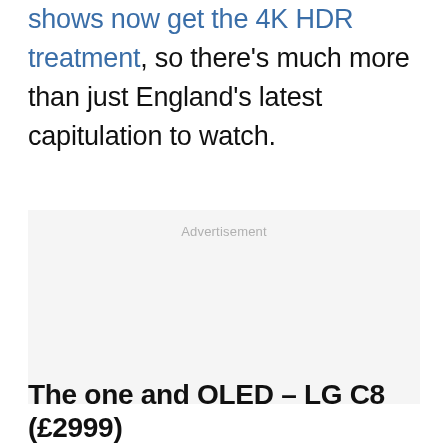shows now get the 4K HDR treatment, so there's much more than just England's latest capitulation to watch.
Advertisement
The one and OLED – LG C8 (£2999)